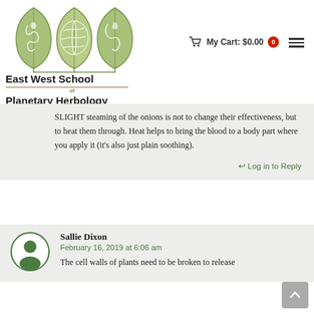[Figure (logo): East West School of Planetary Herbology logo with three leaf shapes containing a world map]
East West School of Planetary Herbology
SLIGHT steaming of the onions is not to change their effectiveness, but to heat them through. Heat helps to bring the blood to a body part where you apply it (it's also just plain soothing).
Log in to Reply
Sallie Dixon
February 16, 2019 at 6:06 am
The cell walls of plants need to be broken to release